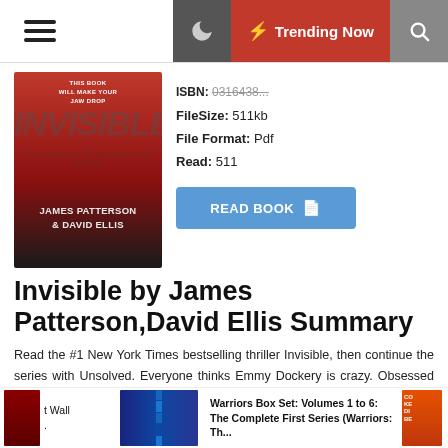Trending Now
[Figure (photo): Book cover for 'Invisible' by James Patterson & David Ellis, red background with large grey italic title text]
FileSize: 511kb
File Format: Pdf
Read: 511
[Figure (other): READ BOOK button in blue]
Invisible by James Patterson,David Ellis Summary
Read the #1 New York Times bestselling thriller Invisible, then continue the series with Unsolved. Everyone thinks Emmy Dockery is crazy. Obsessed with finding the link between hundreds of unsolved cases, Emmy has taken leave from her job as an FBI researcher. Now all she has are the newspaper clippings that
1 Wall | Warriors Box Set: Volumes 1 to 6: The Complete First Series (Warriors: Th...